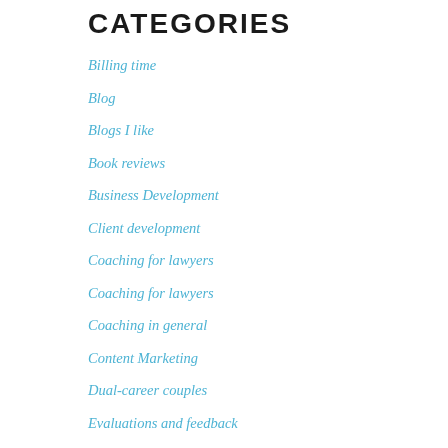CATEGORIES
Billing time
Blog
Blogs I like
Book reviews
Business Development
Client development
Coaching for lawyers
Coaching for lawyers
Coaching in general
Content Marketing
Dual-career couples
Evaluations and feedback
For new lawyers
For summer associates
Guest blogger